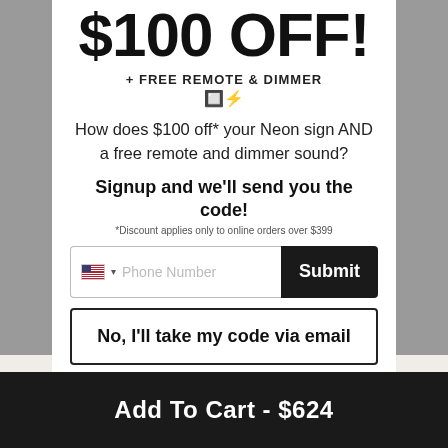$100 OFF!
+ FREE REMOTE & DIMMER
🔲⚡
How does $100 off* your Neon sign AND a free remote and dimmer sound?
Signup and we'll send you the code!
*Discount applies only to online orders over $399
No, I'll take my code via email
By submitting this form, you agree to receive marketing text messages from us at the number provided, including messages sent by autodialer. Consent is not a condition of purchase.
Add To Cart - $624